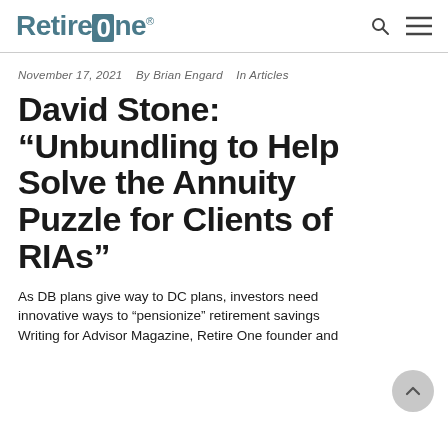RetireOne® [search] [menu]
November 17, 2021   By Brian Engard   In Articles
David Stone: “Unbundling to Help Solve the Annuity Puzzle for Clients of RIAs”
As DB plans give way to DC plans, investors need innovative ways to “pensionize” retirement savings Writing for Advisor Magazine, Retire One founder and...